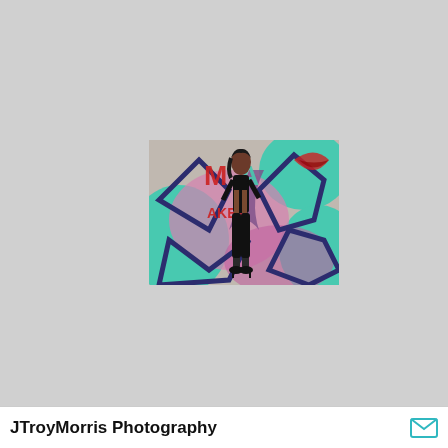[Figure (photo): A woman in a black outfit and tall black boots posing in front of a colorful graffiti-covered wall with teal, pink, red, and purple designs and text reading 'AKEM'.]
JTroyMorris Photography